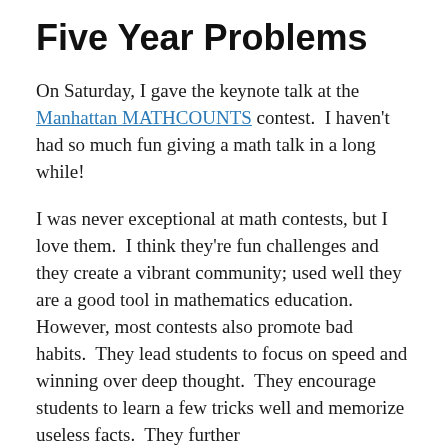Five Year Problems
On Saturday, I gave the keynote talk at the Manhattan MATHCOUNTS contest.  I haven't had so much fun giving a math talk in a long while!
I was never exceptional at math contests, but I love them.  I think they're fun challenges and they create a vibrant community; used well they are a good tool in mathematics education.  However, most contests also promote bad habits.  They lead students to focus on speed and winning over deep thought.  They encourage students to learn a few tricks well and memorize useless facts.  They further